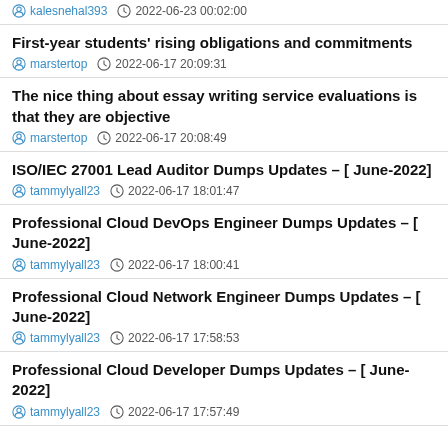kalesnehal393   2022-06-23 00:02:00
First-year students' rising obligations and commitments
marstertop   2022-06-17 20:09:31
The nice thing about essay writing service evaluations is that they are objective
marstertop   2022-06-17 20:08:49
ISO/IEC 27001 Lead Auditor Dumps Updates – [ June-2022]
tammylyall23   2022-06-17 18:01:47
Professional Cloud DevOps Engineer Dumps Updates – [ June-2022]
tammylyall23   2022-06-17 18:00:41
Professional Cloud Network Engineer Dumps Updates – [ June-2022]
tammylyall23   2022-06-17 17:58:53
Professional Cloud Developer Dumps Updates – [ June-2022]
tammylyall23   2022-06-17 17:57:49